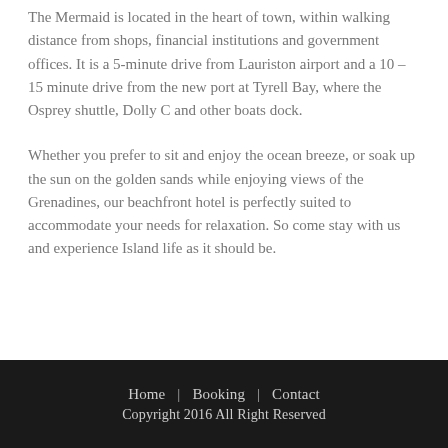The Mermaid is located in the heart of town, within walking distance from shops, financial institutions and government offices. It is a 5-minute drive from Lauriston airport and a 10 – 15 minute drive from the new port at Tyrell Bay, where the Osprey shuttle, Dolly C and other boats dock.
Whether you prefer to sit and enjoy the ocean breeze, or soak up the sun on the golden sands while enjoying views of the Grenadines, our beachfront hotel is perfectly suited to accommodate your needs for relaxation. So come stay with us and experience Island life as it should be.
Home | Booking | Contact Copyright 2016 All Right Reserved